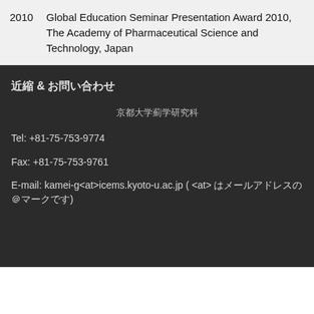2010 Global Education Seminar Presentation Award 2010, The Academy of Pharmaceutical Science and Technology, Japan
連絡 & お問い合わせ
京都大学薬学研究科
Tel: +81-75-753-9774
Fax: +81-75-753-9761
E-mail: kamei-g<at>icems.kyoto-u.ac.jp ( <at> はメールアドレスの@マークです)